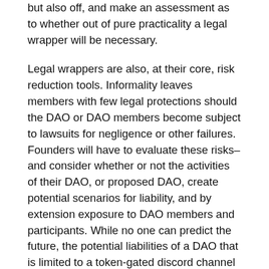but also off, and make an assessment as to whether out of pure practicality a legal wrapper will be necessary.
Legal wrappers are also, at their core, risk reduction tools. Informality leaves members with few legal protections should the DAO or DAO members become subject to lawsuits for negligence or other failures. Founders will have to evaluate these risks–and consider whether or not the activities of their DAO, or proposed DAO, create potential scenarios for liability, and by extension exposure to DAO members and participants. While no one can predict the future, the potential liabilities of a DAO that is limited to a token-gated discord channel vary fundamentally from those of a DAO that controls a protocol with billions of dollars TVL.
Sponsors of larger, more ambitious projects will have to give additional consideration to whether the DAO's